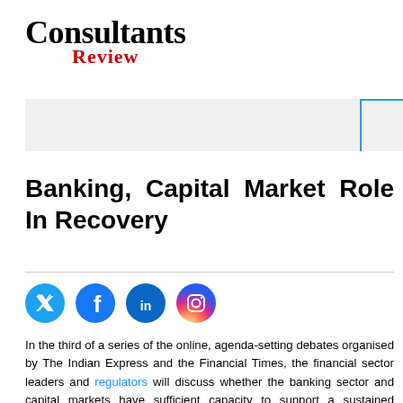Consultants Review
[Figure (logo): Consultants Review magazine logo with 'Consultants' in black serif bold and 'Review' in red serif bold below]
[Figure (other): Gray banner advertisement bar with blue accent line on right side]
Banking, Capital Market Role In Recovery
[Figure (infographic): Social media icons: Twitter (blue), Facebook (blue), LinkedIn (blue), Instagram (gradient)]
In the third of a series of the online, agenda-setting debates organised by The Indian Express and the Financial Times, the financial sector leaders and regulators will discuss whether the banking sector and capital markets have sufficient capacity to support a sustained economic recovery. To kick off the event —